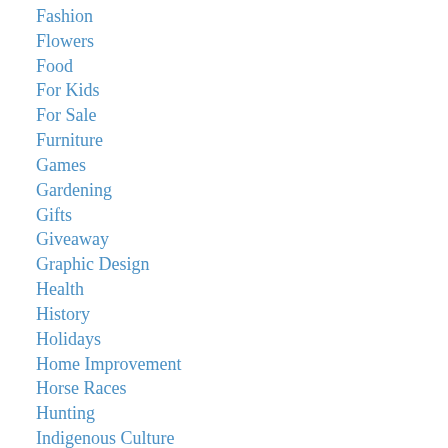Fashion
Flowers
Food
For Kids
For Sale
Furniture
Games
Gardening
Gifts
Giveaway
Graphic Design
Health
History
Holidays
Home Improvement
Horse Races
Hunting
Indigenous Culture
Interior Design
Interviews
Jewelry